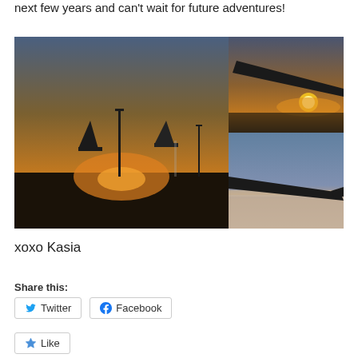next few years and can't wait for future adventures!
[Figure (photo): A collage of three travel photos: large left photo showing airport tarmac at sunset with airplane tails and light poles; top right photo showing airplane wing tip at sunset from window seat; bottom right photo showing airplane wing over clouds/horizon.]
xoxo Kasia
Share this:
Twitter
Facebook
Like